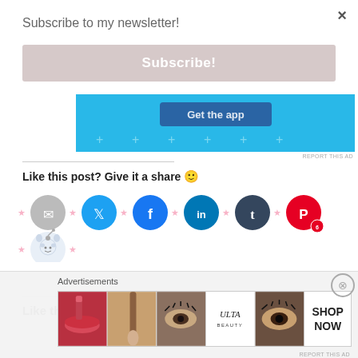×
Subscribe to my newsletter!
Subscribe!
[Figure (screenshot): Blue app promotion ad banner with 'Get the app' button and decorative plus signs]
REPORT THIS AD
Like this post? Give it a share 🙂
[Figure (infographic): Social share buttons: email, Twitter, Facebook, LinkedIn, Tumblr, Pinterest (with count 6), Reddit icons with pink star decorations]
Like this:
Advertisements
[Figure (screenshot): Ulta Beauty advertisement strip showing lips, makeup brush, eye, Ulta logo, eye closeup, and SHOP NOW panels]
REPORT THIS AD